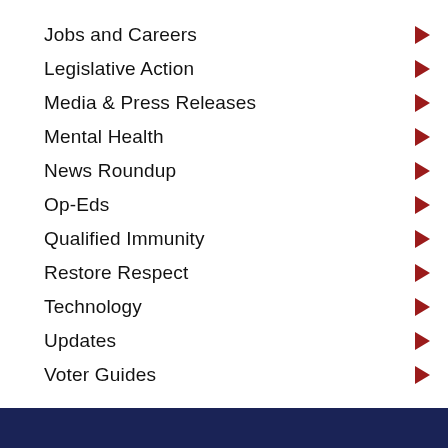Jobs and Careers
Legislative Action
Media & Press Releases
Mental Health
News Roundup
Op-Eds
Qualified Immunity
Restore Respect
Technology
Updates
Voter Guides